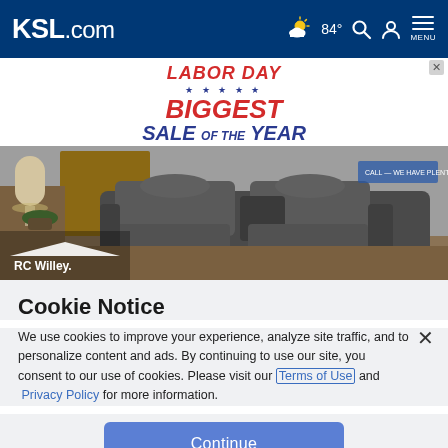KSL.com — navigation bar with weather 84°, search, account, menu
[Figure (advertisement): RC Willey Labor Day Biggest Sale of the Year advertisement banner with furniture photo showing a recliner sofa set]
Cookie Notice
We use cookies to improve your experience, analyze site traffic, and to personalize content and ads. By continuing to use our site, you consent to our use of cookies. Please visit our Terms of Use and Privacy Policy for more information.
Continue